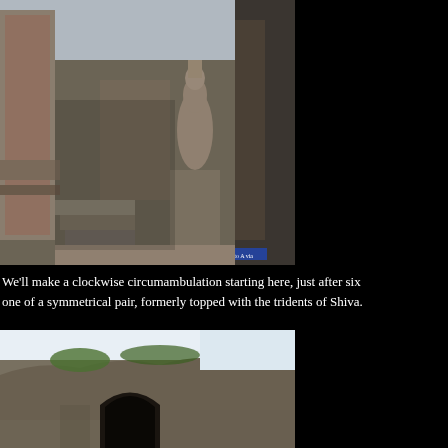[Figure (photo): Interior of an ancient Indian rock-cut temple showing carved stone pillars, steps, and a standing deity sculpture on a pedestal. Stone columns and architectural details are visible in the dim light.]
We'll make a clockwise circumambulation starting here, just after six one of a symmetrical pair, formerly topped with the tridents of Shiva.
[Figure (photo): Exterior view of a rock-cut cave temple structure with an arched entrance carved into the stone cliff face, with green moss or vegetation visible on the rock surfaces above.]